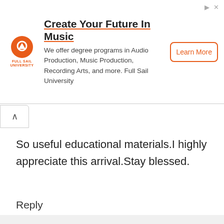[Figure (advertisement): Full Sail University ad: Create Your Future In Music. We offer degree programs in Audio Production, Music Production, Recording Arts, and more. Full Sail University. Learn More button.]
So useful educational materials.I highly appreciate this arrival.Stay blessed.
Reply
Danny Chile says
April 1, 2018 at 2:22 pm
These are nice notes. Keep it up